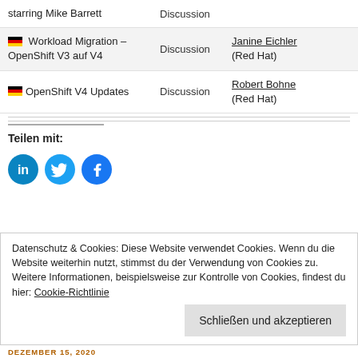| Topic | Type | Speaker |
| --- | --- | --- |
| starring Mike Barrett | Discussion |  |
| 🇩🇪 Workload Migration – OpenShift V3 auf V4 | Discussion | Janine Eichler (Red Hat) |
| 🇩🇪 OpenShift V4 Updates | Discussion | Robert Bohne (Red Hat) |
Teilen mit:
[Figure (illustration): Social sharing icons: LinkedIn (blue circle with 'in'), Twitter (blue circle with bird), Facebook (dark blue circle with 'f')]
Datenschutz & Cookies: Diese Website verwendet Cookies. Wenn du die Website weiterhin nutzt, stimmst du der Verwendung von Cookies zu.
Weitere Informationen, beispielsweise zur Kontrolle von Cookies, findest du hier: Cookie-Richtlinie
Schließen und akzeptieren
DEZEMBER 15, 2020